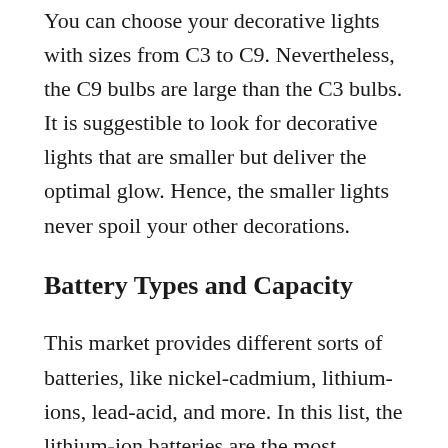You can choose your decorative lights with sizes from C3 to C9. Nevertheless, the C9 bulbs are large than the C3 bulbs. It is suggestible to look for decorative lights that are smaller but deliver the optimal glow. Hence, the smaller lights never spoil your other decorations.
Battery Types and Capacity
This market provides different sorts of batteries, like nickel-cadmium, lithium-ions, lead-acid, and more. In this list, the lithium-ion batteries are the most popular and require nearly no maintenance. The ‘mAh’ is the unit for measuring the capacity of batteries.
The rule is that the higher mAh represents